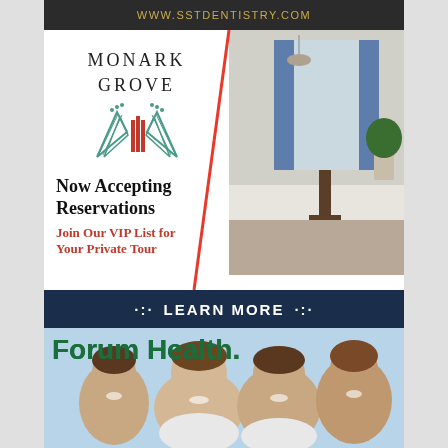WWW.SSTDENTISTRY.COM
[Figure (infographic): Monark Grove real estate advertisement with logo, interior home photo, text 'Now Accepting Reservations' and 'Join Our VIP List for Your Private Tour' with a LEARN MORE button bar]
[Figure (photo): Forum Health advertisement with logo text and photo of a smiling family with two children]